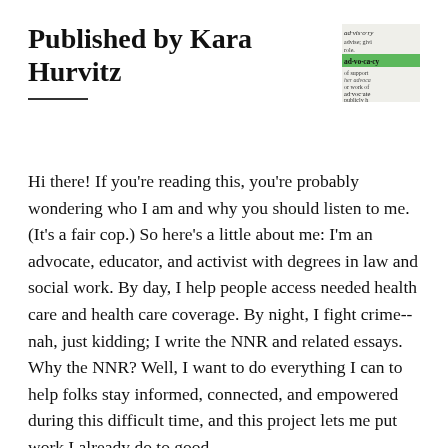Published by Kara Hurvitz
[Figure (illustration): Dictionary entry illustration showing definitions of advisory, advocacy, and advocate with a green highlighted 'ad·vo·ca·cy' entry]
Hi there! If you're reading this, you're probably wondering who I am and why you should listen to me. (It's a fair cop.) So here's a little about me: I'm an advocate, educator, and activist with degrees in law and social work. By day, I help people access needed health care and health care coverage. By night, I fight crime--nah, just kidding; I write the NNR and related essays. Why the NNR? Well, I want to do everything I can to help folks stay informed, connected, and empowered during this difficult time, and this project lets me put work I already do to good